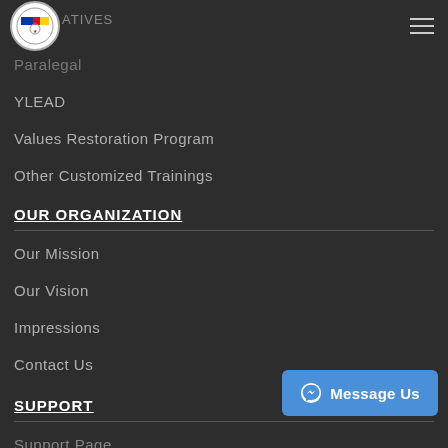Logo and navigation header
Paralegal
YLEAD
Values Restoration Program
Other Customized Trainings
OUR ORGANIZATION
Our Mission
Our Vision
Impressions
Contact Us
SUPPORT
Support Page
FAQ